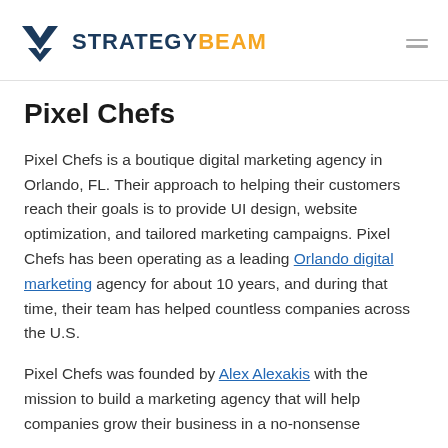STRATEGYBEAM
Pixel Chefs
Pixel Chefs is a boutique digital marketing agency in Orlando, FL. Their approach to helping their customers reach their goals is to provide UI design, website optimization, and tailored marketing campaigns. Pixel Chefs has been operating as a leading Orlando digital marketing agency for about 10 years, and during that time, their team has helped countless companies across the U.S.
Pixel Chefs was founded by Alex Alexakis with the mission to build a marketing agency that will help companies grow their business in a no-nonsense way and to digital marketing. Alex has...